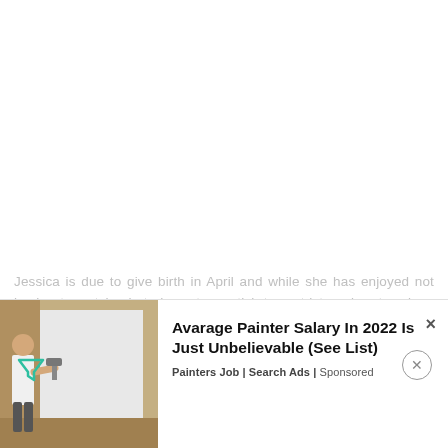Jessica is due to give birth in April and while she has enjoyed not having to watch what she eats or stick to a strict work out regime, she now can't wait to have the baby.  Jessica knows she is
[Figure (illustration): Advertisement banner showing a man painting a white wall in a room with tan/olive colored walls. Ad text reads: Avarage Painter Salary In 2022 Is Just Unbelievable (See List). Painters Job | Search Ads | Sponsored]
Avarage Painter Salary In 2022 Is Just Unbelievable (See List) — Painters Job | Search Ads | Sponsored